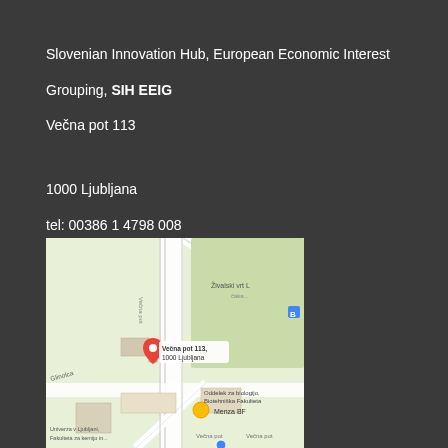Slovenian Innovation Hub, European Economic Interest Grouping, SIH EEIG
Večna pot 113

1000 Ljubljana
tel: 00386 1 4798 008

info@sis-egiz.eu
[Figure (map): Google Maps screenshot showing location of Večna pot 113, 1000 Ljubljana, with a red pin marker and surrounding street/area view including Oddelek za biologijo Biotehniška Fakulteta, Menza BF, Univerza v Ljubljani Fakulteta za kemijo in...]